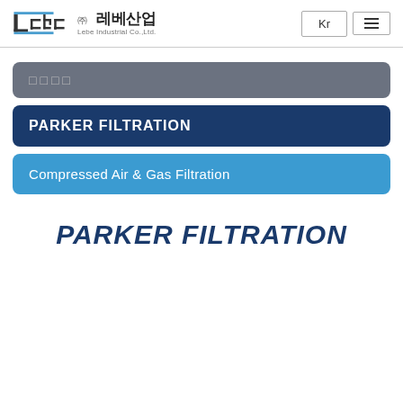Lebe 주레베산업 | Lebe Industrial Co.,Ltd. | Kr | Menu
□□□□
PARKER FILTRATION
Compressed Air & Gas Filtration
PARKER FILTRATION